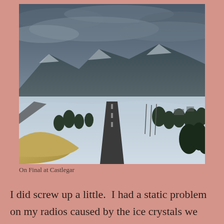[Figure (photo): Aerial cockpit view on final approach to Castlegar airport in winter. Snow-covered landscape with runway ahead, mountains in background under overcast cloudy sky. Part of aircraft nose visible in lower left corner.]
On Final at Castlegar
I did screw up a little.  I had a static problem on my radios caused by the ice crystals we had flown through